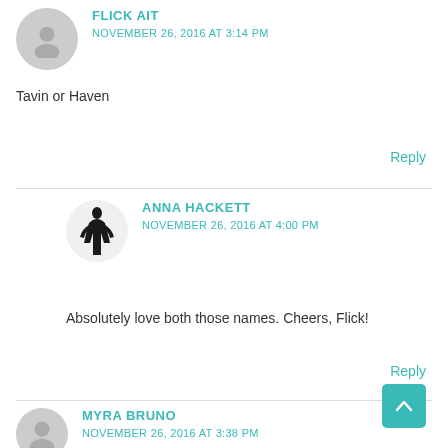[Figure (illustration): Gray circular avatar icon for Flick Ait]
FLICK AIT
NOVEMBER 26, 2016 AT 3:14 PM
Tavin or Haven
Reply
[Figure (illustration): Dark silhouette avatar icon for Anna Hackett]
ANNA HACKETT
NOVEMBER 26, 2016 AT 4:00 PM
Absolutely love both those names. Cheers, Flick!
Reply
[Figure (illustration): Gray circular avatar icon for Myra Bruno]
MYRA BRUNO
NOVEMBER 26, 2016 AT 3:38 PM